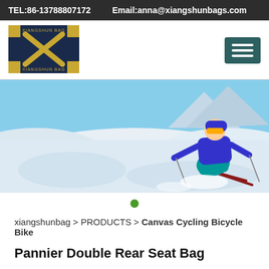TEL:86-13788807172    Email:anna@xiangshunbags.com
[Figure (logo): Xiangshun Bag logo with gold X on dark blue background]
[Figure (photo): Skier in blue jacket and teal pants carving down a snowy slope, banner/hero image]
•
xiangshunbag > PRODUCTS > Canvas Cycling Bicycle Bike
Pannier Double Rear Seat Bag